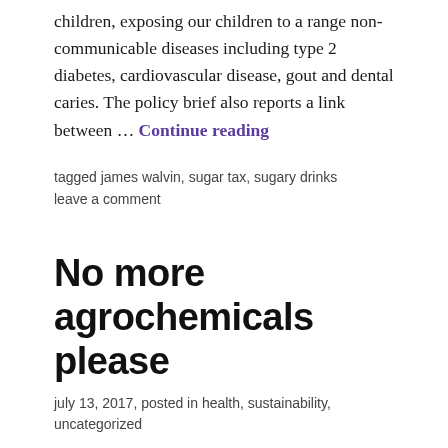children, exposing our children to a range non-communicable diseases including type 2 diabetes, cardiovascular disease, gout and dental caries. The policy brief also reports a link between … Continue reading
tagged james walvin, sugar tax, sugary drinks     leave a comment
No more agrochemicals please
july 13, 2017, posted in health, sustainability, uncategorized
I've stopped using glyphosate on our land a couple of years ago - and I think that Papatuanuku likes that I am